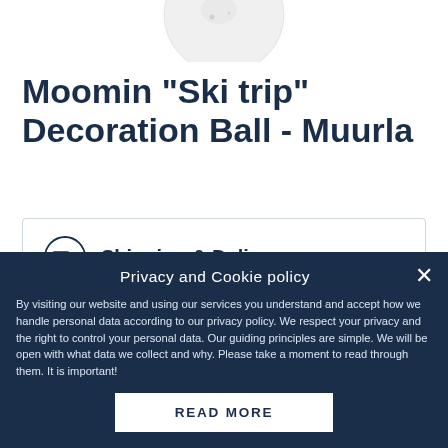[Figure (photo): Partial bottom view of a white/grey decorative ball ornament cropped at top of page]
Moomin "Ski trip" Decoration Ball - Muurla
Shipping & Delivery
Worldwide delivery
Trusted payments
Widest selection
Privacy and Cookie policy
By visiting our website and using our services you understand and accept how we handle personal data according to our privacy policy. We respect your privacy and the right to control your personal data. Our guiding principles are simple. We will be open with what data we collect and why. Please take a moment to read through them. It is important!
READ MORE